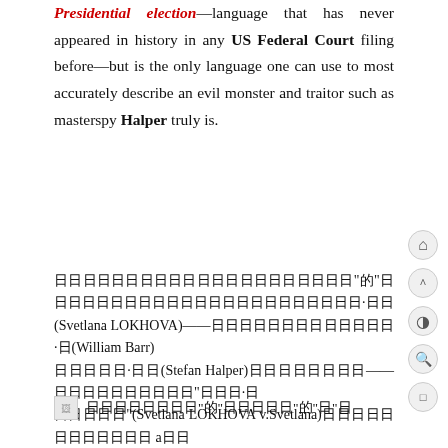Presidential election —language that has never appeared in history in any US Federal Court filing before—but is the only language one can use to most accurately describe an evil monster and traitor such as masterspy Halper truly is.
日本語テキスト"的"英語テキスト日本語テキスト·日本(Svetlana LOKHOVA)——日本語テキスト·日(William Barr)日本語·英語(Stefan Halper)日本語テキスト——日本語テキスト"英語·日本語"(Svetlana LOKHOVA v.Svetlana)日本語テキスト a日本(HALPER)日本語テキスト） NBC 日本語テキスト(MSNBC)日本語テキスト2500日本語テキスト,"日本語テキスト2016日本語テキスト"——日本語テキスト,日本語——日本語テキスト,、
日本語テキスト"的"日本語テキスト"的"日本